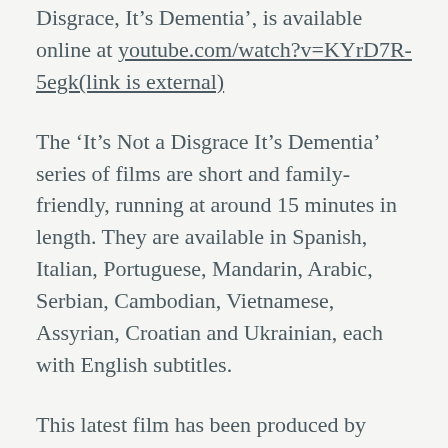Disgrace, It's Dementia', is available online at youtube.com/watch?v=KYrD7R-5egk(link is external)
The 'It's Not a Disgrace It's Dementia' series of films are short and family-friendly, running at around 15 minutes in length. They are available in Spanish, Italian, Portuguese, Mandarin, Arabic, Serbian, Cambodian, Vietnamese, Assyrian, Croatian and Ukrainian, each with English subtitles.
This latest film has been produced by Dementia Australia in partnership with Why Documentaries and the Multicultural Communities Council of the Illawarra. Dementia Australia would also like to thank Sri